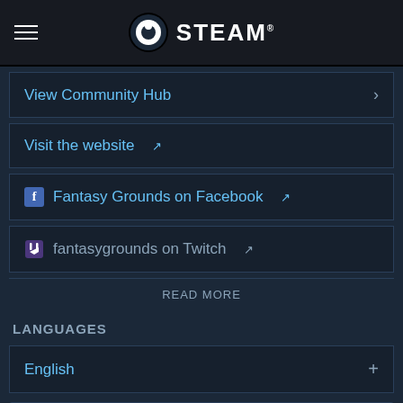STEAM
View Community Hub
Visit the website
Fantasy Grounds on Facebook
fantasygrounds on Twitch
READ MORE
LANGUAGES
English
Check out the entire Fantasy Grounds by SmiteWorks franchise on Steam